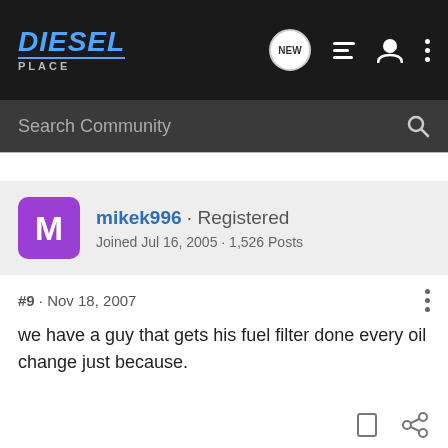[Figure (logo): Diesel Place forum logo with blue italic text and navigation icons]
Search Community
mikek996 · Registered
Joined Jul 16, 2005 · 1,526 Posts
#9 · Nov 18, 2007
we have a guy that gets his fuel filter done every oil change just because.